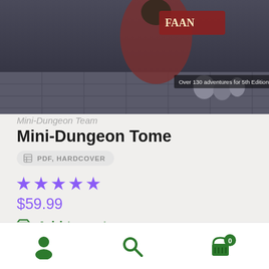[Figure (photo): Book cover image for Mini-Dungeon Tome showing fantasy artwork with text 'Over 130 adventures for 5th Edition!']
Mini-Dungeon Team
Mini-Dungeon Tome
PDF, HARDCOVER
[Figure (infographic): 5 purple star rating]
$59.99
Add to cart
Rise of the Drow, Print Books